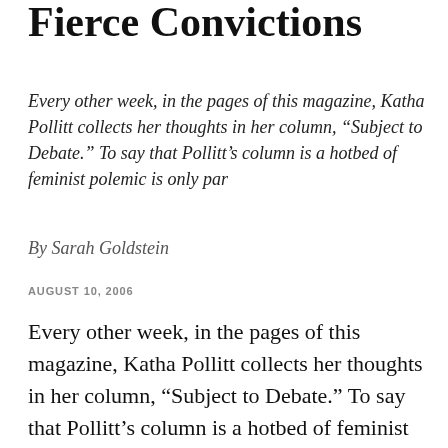Fierce Convictions
Every other week, in the pages of this magazine, Katha Pollitt collects her thoughts in her column, “Subject to Debate.” To say that Pollitt’s column is a hotbed of feminist polemic is only par
By Sarah Goldstein
AUGUST 10, 2006
Every other week, in the pages of this magazine, Katha Pollitt collects her thoughts in her column, “Subject to Debate.” To say that Pollitt’s column is a hotbed of feminist polemic is only partly right. Each of her essays is a small marvel of anger leavened